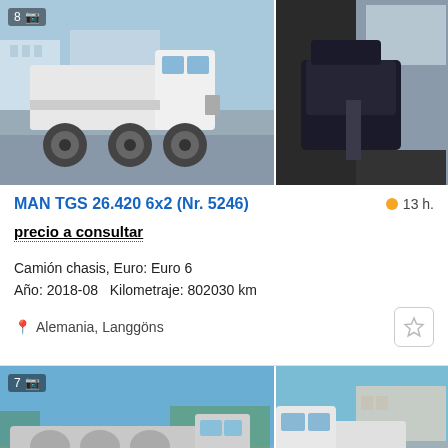[Figure (photo): White MAN TGS truck chassis photographed from side in a parking area, with buildings in background. Badge shows '8' photos.]
[Figure (photo): Interior cab view showing dark upholstered seats and door panel of a truck cab.]
MAN TGS 26.420 6x2 (Nr. 5246)
13 h.
precio a consultar
Camión chasis, Euro: Euro 6
Año: 2018-08   Kilometraje: 802030 km
Alemania, Langgöns
[Figure (photo): Light-colored MAN truck with tank/chassis body photographed outdoors. Badge shows '7' photos.]
[Figure (photo): White MAN truck tractor photographed from side in industrial area.]